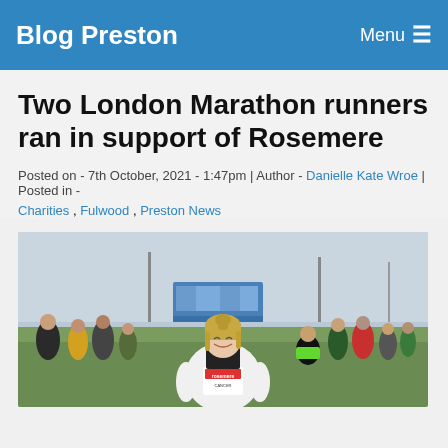Blog Preston | Menu
Two London Marathon runners ran in support of Rosemere
Posted on - 7th October, 2021 - 1:47pm | Author - Danielle Kate Wroe | Posted in -
Charities , Fulwood , Preston News
[Figure (photo): A smiling woman with blonde hair in a ponytail wearing a white hoodie and a running bib with Rosemere branding, standing on a grass field with other runners and a blue bus in the background.]